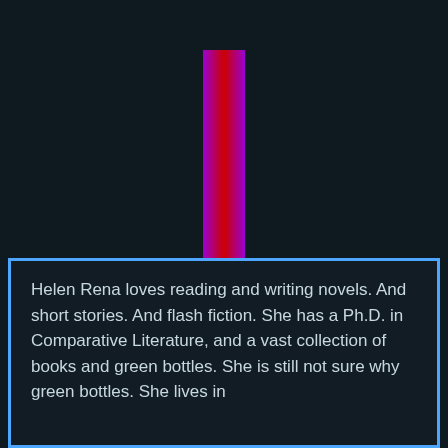HelenRena
Helen Rena loves reading and writing novels. And short stories. And flash fiction. She has a Ph.D. in Comparative Literature, and a vast collection of books and green bottles. She is still not sure why green bottles. She lives in